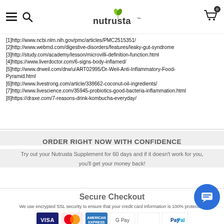Nutrusta navigation header with hamburger menu, search icon, logo, and cart
[1]http://www.ncbi.nlm.nih.gov/pmc/articles/PMC2515351/
[2]http://www.webmd.com/digestive-disorders/features/leaky-gut-syndrome
[3]http://study.com/academy/lesson/microvilli-definition-function.html
[4]https://www.liverdoctor.com/6-signs-body-inflamed/
[5]http://www.drweil.com/drw/u/ART02995/Dr-Weil-Anti-Inflammatory-Food-Pyramid.html
[6]http://www.livestrong.com/article/338662-coconut-oil-ingredients/
[7]http://www.livescience.com/35945-probiotics-good-bacteria-inflammation.html
[8]https://draxe.com/7-reasons-drink-kombucha-everyday/
ORDER RIGHT NOW WITH CONFIDENCE
Try out your Nutrusta Supplement for 60 days and if it doesn't work for you, you'll get your money back!
Secure Checkout
We use encrypted SSL security to ensure that your credit card information is 100% protected.
[Figure (illustration): Payment method icons: Visa, Mastercard, American Express, Google Pay, Apple Pay, PayPal]